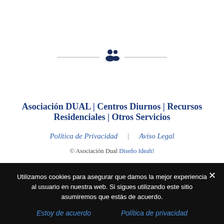[Figure (illustration): Horizontal divider lines with a group/people icon in the center]
Asociación DUAL | Centros Diurnos | Recursos Residenciales | Otros Servicios
Política de Privacidad  |  Aviso Legal
© Asociación Dual Diseño Ideah!
Utilizamos cookies para asegurar que damos la mejor experiencia al usuario en nuestra web. Si sigues utilizando este sitio asumiremos que estás de acuerdo.
Estoy de acuerdo   Política de privacidad